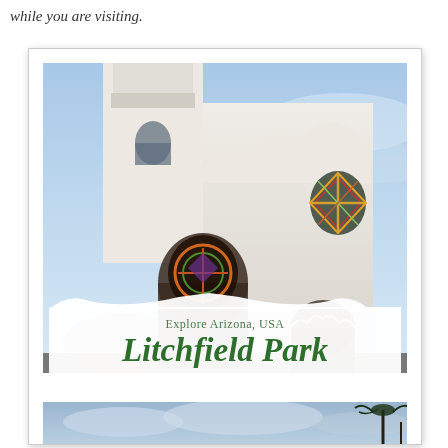while you are visiting.
[Figure (photo): A white Spanish mission-style church photographed at dusk/evening with stained glass windows illuminated, a bell tower, and decorative arch facade. The church is white stucco with ornate details. Overlaid with a travel destination label reading 'Explore Arizona, USA / Litchfield Park' in green script on a white banner. Below the banner is a cloudy sky with palm trees.]